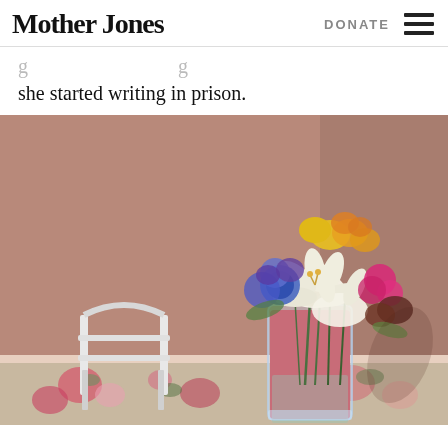Mother Jones | DONATE
she started writing in prison.
[Figure (photo): A colorful floral arrangement in a glass vase with a red decorative wrap, featuring white lilies, blue flowers, yellow and orange flowers, and pink flowers, sitting on a floral tablecloth. A small white decorative chair or rack is in the foreground left. The background is a dusty rose/mauve painted wall.]